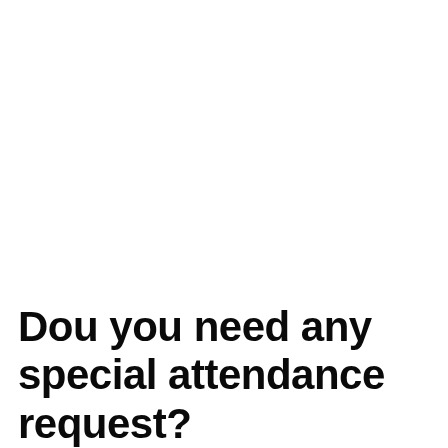Dou you need any special attendance request?